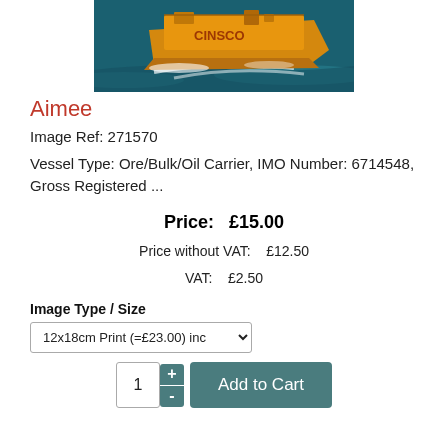[Figure (photo): Aerial photo of an orange ore/bulk/oil carrier ship sailing through dark blue ocean water, viewed from above at an angle, with white wake visible.]
Aimee
Image Ref: 271570
Vessel Type: Ore/Bulk/Oil Carrier, IMO Number: 6714548, Gross Registered ...
Price: £15.00
Price without VAT: £12.50
VAT: £2.50
Image Type / Size
12x18cm Print (=£23.00) inc
1  +  -  Add to Cart